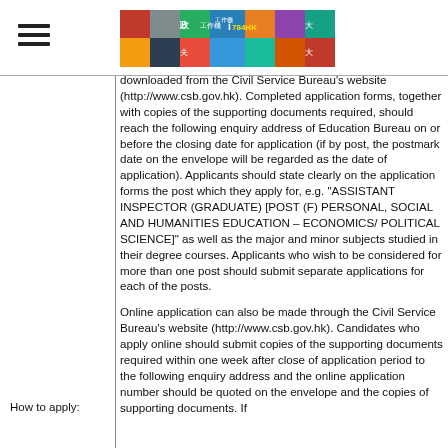[Figure (other): Page header with hamburger menu icon and colorful banner/logo image for a Hong Kong government jobs website]
downloaded from the Civil Service Bureau's website (http://www.csb.gov.hk). Completed application forms, together with copies of the supporting documents required, should reach the following enquiry address of Education Bureau on or before the closing date for application (if by post, the postmark date on the envelope will be regarded as the date of application). Applicants should state clearly on the application forms the post which they apply for, e.g. "ASSISTANT INSPECTOR (GRADUATE) [POST (F) PERSONAL, SOCIAL AND HUMANITIES EDUCATION – ECONOMICS/ POLITICAL SCIENCE]" as well as the major and minor subjects studied in their degree courses. Applicants who wish to be considered for more than one post should submit separate applications for each of the posts.
Online application can also be made through the Civil Service Bureau's website (http://www.csb.gov.hk). Candidates who apply online should submit copies of the supporting documents required within one week after close of application period to the following enquiry address and the online application number should be quoted on the envelope and the copies of supporting documents. If
How to apply: